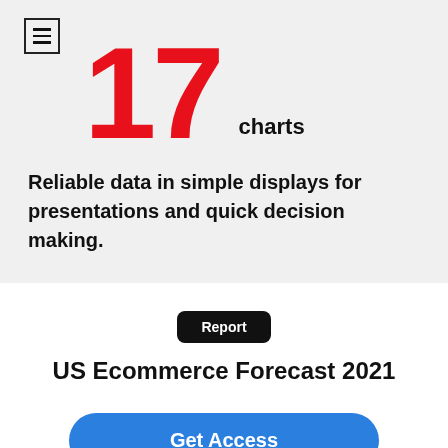[Figure (infographic): Menu/hamburger icon in a square box]
17 charts
Reliable data in simple displays for presentations and quick decision making.
Report
US Ecommerce Forecast 2021
Get Access
Log in